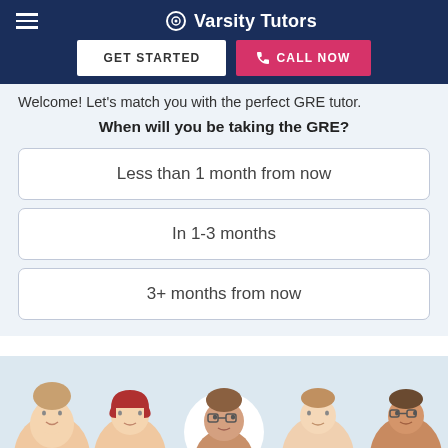Varsity Tutors
Welcome! Let's match you with the perfect GRE tutor.
When will you be taking the GRE?
Less than 1 month from now
In 1-3 months
3+ months from now
[Figure (illustration): Row of cartoon avatar faces representing tutors at the bottom of the page]